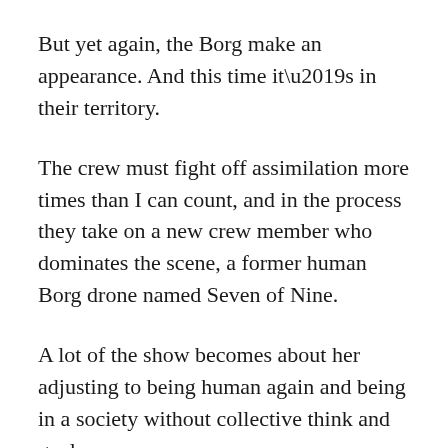But yet again, the Borg make an appearance. And this time it’s in their territory.
The crew must fight off assimilation more times than I can count, and in the process they take on a new crew member who dominates the scene, a former human Borg drone named Seven of Nine.
A lot of the show becomes about her adjusting to being human again and being in a society without collective think and goals.
SPOILER, they finally make it home and the series ends in an amazing two parter that excites as well as tugs the